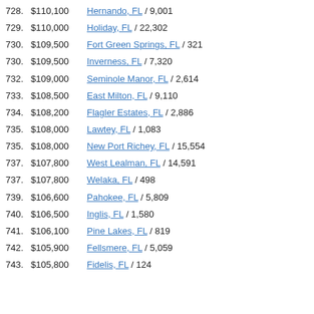728. $110,100 Hernando, FL / 9,001
729. $110,000 Holiday, FL / 22,302
730. $109,500 Fort Green Springs, FL / 321
730. $109,500 Inverness, FL / 7,320
732. $109,000 Seminole Manor, FL / 2,614
733. $108,500 East Milton, FL / 9,110
734. $108,200 Flagler Estates, FL / 2,886
735. $108,000 Lawtey, FL / 1,083
735. $108,000 New Port Richey, FL / 15,554
737. $107,800 West Lealman, FL / 14,591
737. $107,800 Welaka, FL / 498
739. $106,600 Pahokee, FL / 5,809
740. $106,500 Inglis, FL / 1,580
741. $106,100 Pine Lakes, FL / 819
742. $105,900 Fellsmere, FL / 5,059
743. $105,800 Fidelis, FL / 124